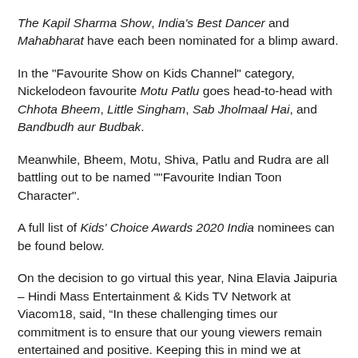The Kapil Sharma Show, India's Best Dancer and Mahabharat have each been nominated for a blimp award.
In the "Favourite Show on Kids Channel" category, Nickelodeon favourite Motu Patlu goes head-to-head with Chhota Bheem, Little Singham, Sab Jholmaal Hai, and Bandbudh aur Budbak.
Meanwhile, Bheem, Motu, Shiva, Patlu and Rudra are all battling out to be named ""Favourite Indian Toon Character".
A full list of Kids' Choice Awards 2020 India nominees can be found below.
On the decision to go virtual this year, Nina Elavia Jaipuria – Hindi Mass Entertainment & Kids TV Network at Viacom18, said, “In these challenging times our commitment is to ensure that our young viewers remain entertained and positive. Keeping this in mind we at Nickelodeon are going to celebrate all that is new with Kids' Choice Awards 2020.”
“In the virtual format, with the introduction of new categories